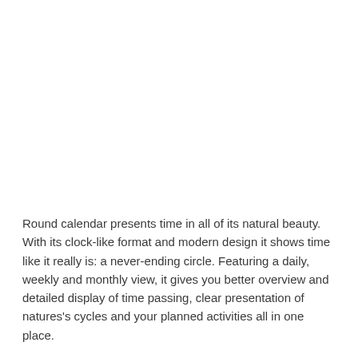Round calendar presents time in all of its natural beauty. With its clock-like format and modern design it shows time like it really is: a never-ending circle. Featuring a daily, weekly and monthly view, it gives you better overview and detailed display of time passing, clear presentation of natures's cycles and your planned activities all in one place.
Main features:
sunlight - sunrise, sunset, night and daylight